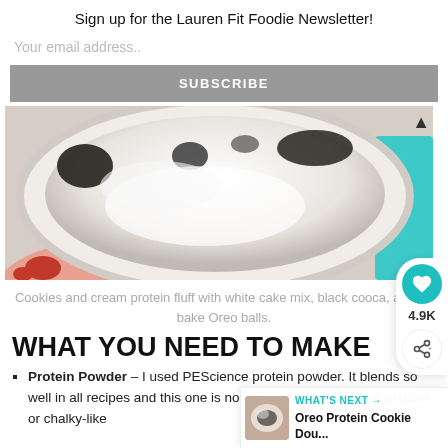Sign up for the Lauren Fit Foodie Newsletter!
Your email address..
SUBSCRIBE
[Figure (photo): Overhead close-up photo of cookies and cream protein fluff in a white bowl, held by a hand with red nail polish, with powdery white mixture and dark cookie crumbles, teal object in background.]
Cookies and cream protein fluff with white cake mix, black cooca, and no bake Oreo balls.
WHAT YOU NEED TO MAKE
Protein Powder – I used PEScience protein powder. It blends so well in all recipes and this one is no exception! Zero protein powder or chalky-like